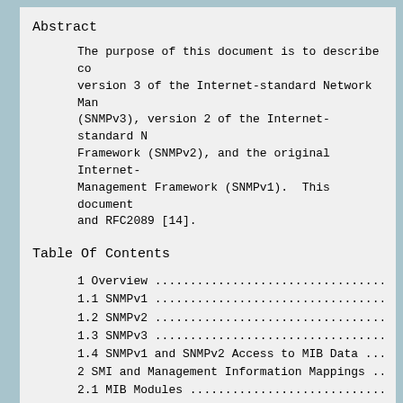Abstract
The purpose of this document is to describe co version 3 of the Internet-standard Network Man (SNMPv3), version 2 of the Internet-standard N Framework (SNMPv2), and the original Internet- Management Framework (SNMPv1).  This document and RFC2089 [14].
Table Of Contents
1 Overview ...............................
1.1 SNMPv1 ...............................
1.2 SNMPv2 ...............................
1.3 SNMPv3 ...............................
1.4 SNMPv1 and SNMPv2 Access to MIB Data ....
2 SMI and Management Information Mappings ...
2.1 MIB Modules ...............................
2.1.1 Object Definitions ...............................
2.1.2 Trap and Notification Definitions .....
2.2 Compliance Statements ...............................
2.3 Capabilities Statements